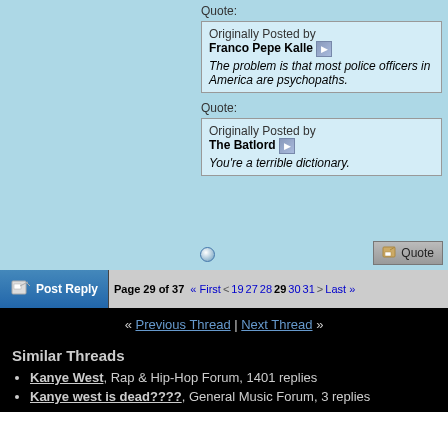Quote:
Originally Posted by Franco Pepe Kalle: The problem is that most police officers in America are psychopaths.
Quote:
Originally Posted by The Batlord: You're a terrible dictionary.
Page 29 of 37 « First < 19 27 28 29 30 31 > Last »
« Previous Thread | Next Thread »
Similar Threads
Kanye West, Rap & Hip-Hop Forum, 1401 replies
Kanye west is dead????, General Music Forum, 3 replies